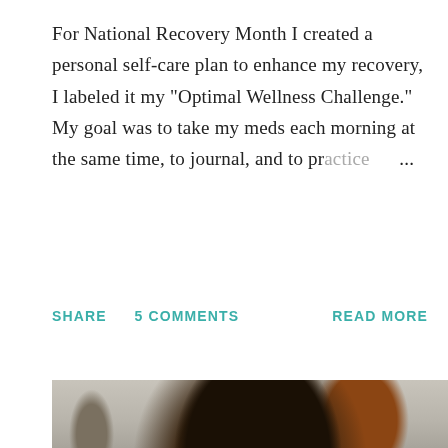For National Recovery Month I created a personal self-care plan to enhance my recovery, I labeled it my "Optimal Wellness Challenge." My goal was to take my meds each morning at the same time, to journal, and to practice ...
SHARE   5 COMMENTS   READ MORE
[Figure (photo): A smiling young Black woman with short natural hair wearing large hoop earrings and a dark top, photographed indoors with a light gray wall and a wooden panel/door visible in the background, and a circular mirror partially visible on the left.]